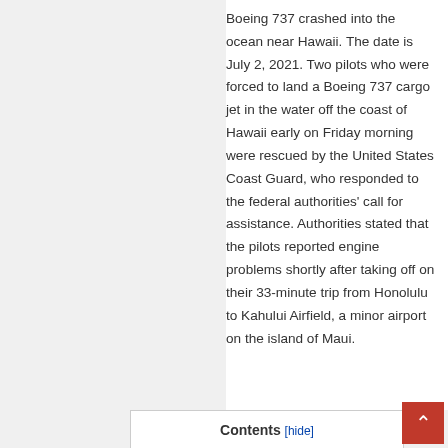Boeing 737 crashed into the ocean near Hawaii. The date is July 2, 2021. Two pilots who were forced to land a Boeing 737 cargo jet in the water off the coast of Hawaii early on Friday morning were rescued by the United States Coast Guard, who responded to the federal authorities' call for assistance. Authorities stated that the pilots reported engine problems shortly after taking off on their 33-minute trip from Honolulu to Kahului Airfield, a minor airport on the island of Maui.
Contents [hide]